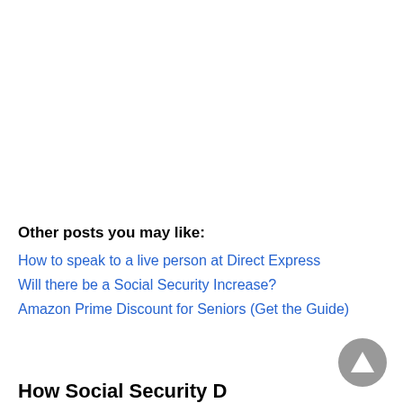Other posts you may like:
How to speak to a live person at Direct Express
Will there be a Social Security Increase?
Amazon Prime Discount for Seniors (Get the Guide)
[Figure (other): Scroll-to-top button, grey circle with white upward-pointing triangle]
How Social Security D...